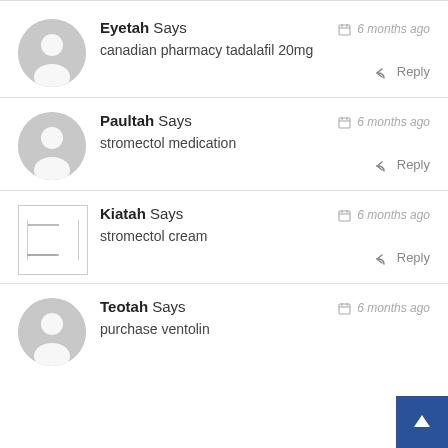Eyetah Says — 6 months ago — canadian pharmacy tadalafil 20mg
Paultah Says — 6 months ago — stromectol medication
Kiatah Says — 6 months ago — stromectol cream
Teotah Says — 6 months ago — purchase ventolin